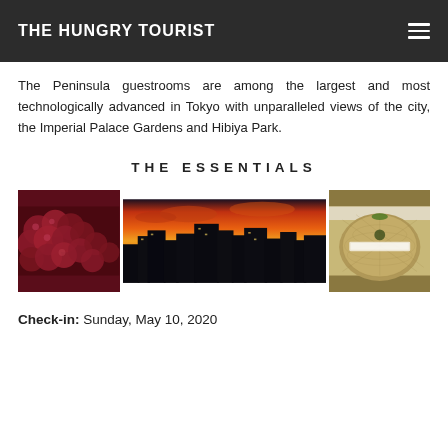THE HUNGRY TOURIST
The Peninsula guestrooms are among the largest and most technologically advanced in Tokyo with unparalleled views of the city, the Imperial Palace Gardens and Hibiya Park.
THE ESSENTIALS
[Figure (photo): Three photos in a row: red grapes close-up on the left, orange sunset cityscape of Tokyo skyline in the middle, and a boxed cantaloupe/musk melon on the right]
Check-in: Sunday, May 10, 2020